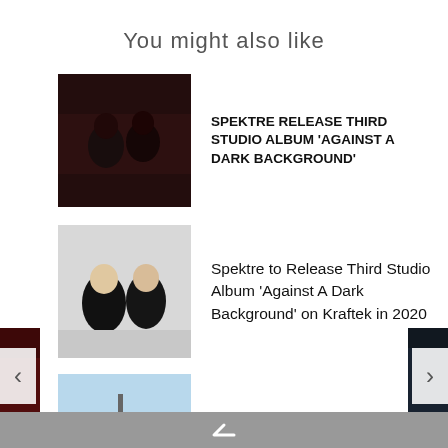You might also like
[Figure (photo): Dark photo of two men looking at camera (Spektre artists)]
SPEKTRE RELEASE THIRD STUDIO ALBUM 'AGAINST A DARK BACKGROUND'
[Figure (photo): Two men in black t-shirts standing with arms crossed (Spektre)]
Spektre to Release Third Studio Album 'Against A Dark Background' on Kraftek in 2020
[Figure (photo): Aerial photo of Toronto skyline with CN Tower]
Destination Toronto: Electric Island to end 2019 Season with 2-Day Extravaganza
[Figure (photo): Photo of outdoor scene at night with crowd]
Carl Cox Live from the Midway in San Francisco